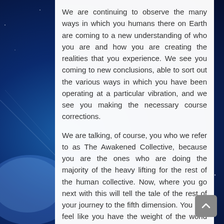We are continuing to observe the many ways in which you humans there on Earth are coming to a new understanding of who you are and how you are creating the realities that you experience. We see you coming to new conclusions, able to sort out the various ways in which you have been operating at a particular vibration, and we see you making the necessary course corrections.
We are talking, of course, you who we refer to as The Awakened Collective, because you are the ones who are doing the majority of the heavy lifting for the rest of the human collective. Now, where you go next with this will tell the tale of the rest of your journey to the fifth dimension. You can feel like you have the weight of the world on your shoulders, like it is all up to you, and like you have very little help there in the physical realm, or you can recognize the help that is all around you, coming from physical and nonphysical beings in the higher